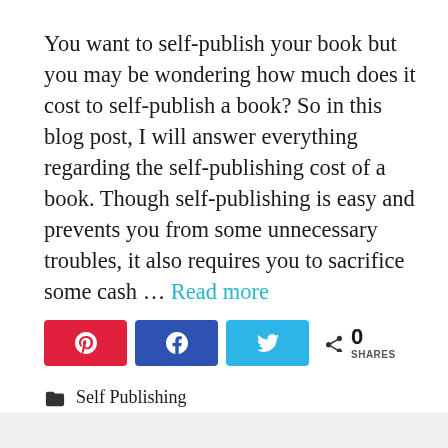You want to self-publish your book but you may be wondering how much does it cost to self-publish a book? So in this blog post, I will answer everything regarding the self-publishing cost of a book. Though self-publishing is easy and prevents you from some unnecessary troubles, it also requires you to sacrifice some cash … Read more
[Figure (infographic): Social share buttons: Pinterest (red), Facebook (dark blue), Twitter (light blue), and a share count showing 0 SHARES]
Self Publishing
Leave a comment